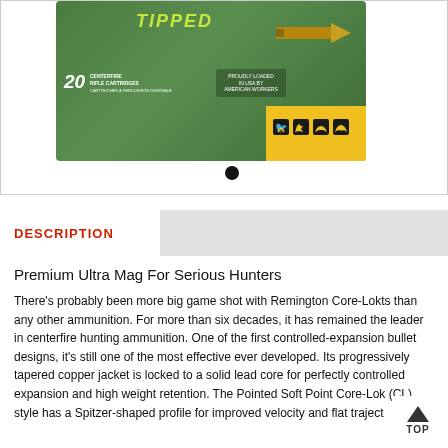[Figure (photo): Product image of Remington Core-Lokt Tipped ammunition box, green box with yellow accent panel showing animal icons, 20 Centerfire Rifle Cartridges label, with bullet/cartridge visible. Dot indicator below image.]
DESCRIPTION
Premium Ultra Mag For Serious Hunters
There's probably been more big game shot with Remington Core-Lokts than any other ammunition. For more than six decades, it has remained the leader in centerfire hunting ammunition. One of the first controlled-expansion bullet designs, it's still one of the most effective ever developed. Its progressively tapered copper jacket is locked to a solid lead core for perfectly controlled expansion and high weight retention. The Pointed Soft Point Core-Lok (CL) style has a Spitzer-shaped profile for improved velocity and flat traject